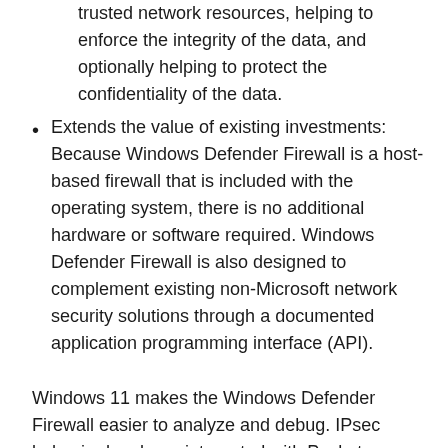trusted network resources, helping to enforce the integrity of the data, and optionally helping to protect the confidentiality of the data.
Extends the value of existing investments: Because Windows Defender Firewall is a host-based firewall that is included with the operating system, there is no additional hardware or software required. Windows Defender Firewall is also designed to complement existing non-Microsoft network security solutions through a documented application programming interface (API).
Windows 11 makes the Windows Defender Firewall easier to analyze and debug. IPsec behavior has been integrated with Packet Monitor (pktmon), an in-box cross-component network diagnostic tool for Windows. Additionally, the Windows Defender Firewall event logs have been enhanced to ensure an audit can identify the specific filter that was responsible for any given event. This enables